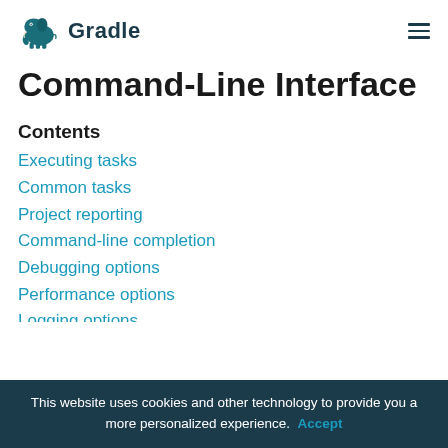Gradle
Command-Line Interface
Contents
Executing tasks
Common tasks
Project reporting
Command-line completion
Debugging options
Performance options
This website uses cookies and other technology to provide you a more personalized experience. Accept